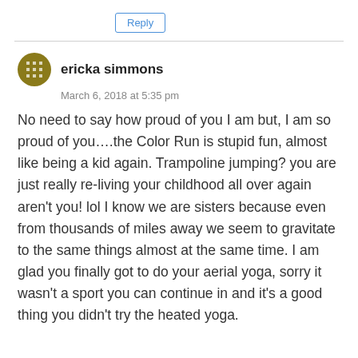Reply
ericka simmons
March 6, 2018 at 5:35 pm
No need to say how proud of you I am but, I am so proud of you….the Color Run is stupid fun, almost like being a kid again. Trampoline jumping? you are just really re-living your childhood all over again aren't you! lol I know we are sisters because even from thousands of miles away we seem to gravitate to the same things almost at the same time. I am glad you finally got to do your aerial yoga, sorry it wasn't a sport you can continue in and it's a good thing you didn't try the heated yoga.